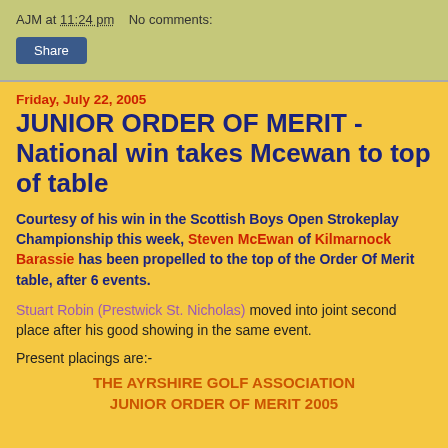AJM at 11:24 pm   No comments:
Friday, July 22, 2005
JUNIOR ORDER OF MERIT - National win takes Mcewan to top of table
Courtesy of his win in the Scottish Boys Open Strokeplay Championship this week, Steven McEwan of Kilmarnock Barassie has been propelled to the top of the Order Of Merit table, after 6 events.
Stuart Robin (Prestwick St. Nicholas) moved into joint second place after his good showing in the same event.
Present placings are:-
THE AYRSHIRE GOLF ASSOCIATION JUNIOR ORDER OF MERIT 2005